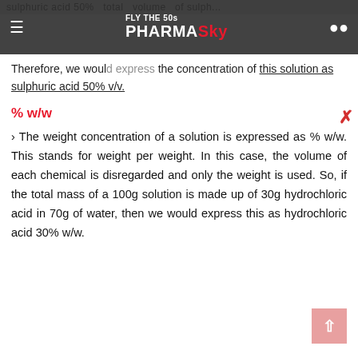sulphuric acid 50% total volume of sulph... [truncated]
Therefore, we would express the concentration of this solution as sulphuric acid 50% v/v.
% w/w
> The weight concentration of a solution is expressed as % w/w. This stands for weight per weight. In this case, the volume of each chemical is disregarded and only the weight is used. So, if the total mass of a 100g solution is made up of 30g hydrochloric acid in 70g of water, then we would express this as hydrochloric acid 30% w/w.